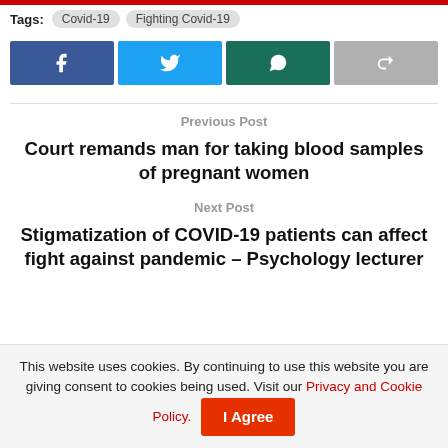Tags: Covid-19  Fighting Covid-19
[Figure (other): Social share buttons: Facebook, Twitter, WhatsApp, Forward]
Previous Post
Court remands man for taking blood samples of pregnant women
Next Post
Stigmatization of COVID-19 patients can affect fight against pandemic – Psychology lecturer
This website uses cookies. By continuing to use this website you are giving consent to cookies being used. Visit our Privacy and Cookie Policy.   I Agree